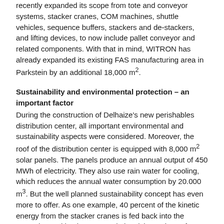recently expanded its scope from tote and conveyor systems, stacker cranes, COM machines, shuttle vehicles, sequence buffers, stackers and de-stackers, and lifting devices, to now include pallet conveyor and related components. With that in mind, WITRON has already expanded its existing FAS manufacturing area in Parkstein by an additional 18,000 m².
Sustainability and environmental protection – an important factor
During the construction of Delhaize's new perishables distribution center, all important environmental and sustainability aspects were considered. Moreover, the roof of the distribution center is equipped with 8,000 m² solar panels. The panels produce an annual output of 450 MWh of electricity. They also use rain water for cooling, which reduces the annual water consumption by 20.000 m³. But the well planned sustainability concept has even more to offer. As one example, 40 percent of the kinetic energy from the stacker cranes is fed back into the network, resulting in an annual electricity savings of 2,000 MWh for Delhaize. Likewise, the newly developed and reusable totes for perishable goods lead to a significant reduction in waste volume. The use of the new totes combined with store-friendly picking has reduced the number of outbound trucks for the same shipping volume, thereby reducing CO² consumption considerably.